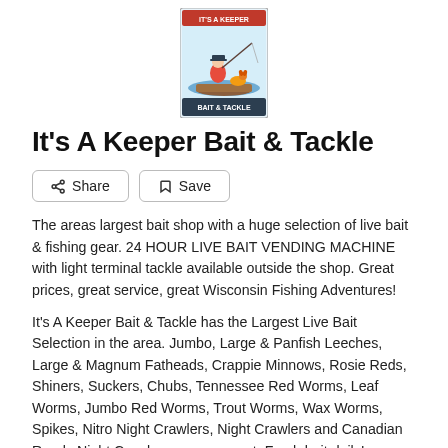[Figure (logo): It's A Keeper Bait & Tackle logo — cartoon fisherman on a boat with a dog, text reading 'IT'S A KEEPER' at top and 'BAIT & TACKLE' at bottom, on a light blue/white background]
It's A Keeper Bait & Tackle
Share  Save
The areas largest bait shop with a huge selection of live bait & fishing gear. 24 HOUR LIVE BAIT VENDING MACHINE with light terminal tackle available outside the shop. Great prices, great service, great Wisconsin Fishing Adventures!
It's A Keeper Bait & Tackle has the Largest Live Bait Selection in the area. Jumbo, Large & Panfish Leeches, Large & Magnum Fatheads, Crappie Minnows, Rosie Reds, Shiners, Suckers, Chubs, Tennessee Red Worms, Leaf Worms, Jumbo Red Worms, Trout Worms, Wax Worms, Spikes, Nitro Night Crawlers, Night Crawlers and Canadian Ready Night Crawlers upon request. Fresh bait daily! Located in Janesville, WI.